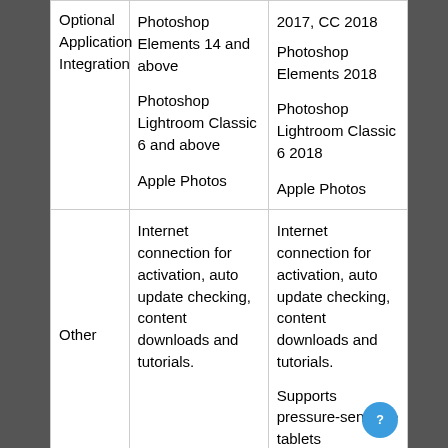| Optional Application Integration | Photoshop Elements 14 and above

Photoshop Lightroom Classic 6 and above

Apple Photos | 2017, CC 2018

Photoshop Elements 2018

Photoshop Lightroom Classic 6 2018

Apple Photos |
| Other | Internet connection for activation, auto update checking, content downloads and tutorials. | Internet connection for activation, auto update checking, content downloads and tutorials.

Supports pressure-sensitive tablets |